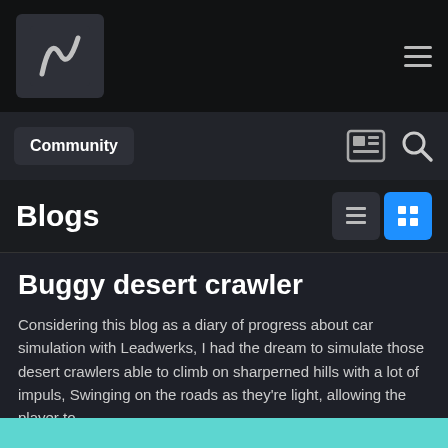Community
Blogs
Buggy desert crawler
Considering this blog as a diary of progress about car simulation with Leadwerks, I had the dream to simulate those desert crawlers able to climb on sharperned hills with a lot of impuls, Swinging on the roads as they're light, allowing the player to...
Marcousik in Offroad car simulation
August 14